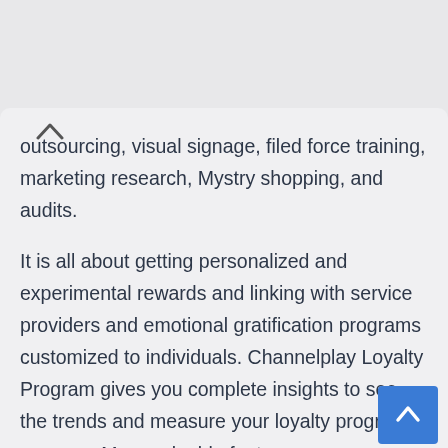outsourcing, visual signage, filed force training, marketing research, Mystry shopping, and audits.
It is all about getting personalized and experimental rewards and linking with service providers and emotional gratification programs customized to individuals. Channelplay Loyalty Program gives you complete insights to see the trends and measure your loyalty programs' success. More valuable features are customized technology development, logistic management, a unified communication platform,